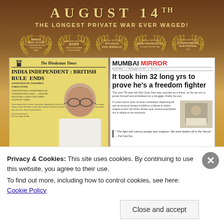[Figure (photo): Movie poster for a film opening August 14th. Dark brown/golden background with the text 'AUGUST 14TH' and 'THE LONGEST PRIVATE WAR EVER WAGED!'. Five laurel wreath award badges below: Winner Best Actor Extravaganza India Film Festival Paris, Nominated Best Film NYIFF New York Indian Film Festival, Official Selection IFFI (Goa) IFFK (Kerala), Official Selection San Francisco Global Film Festival, Official Selection London Indian Film Festival 2015. Below is a collage of newspaper front pages: The Hindustan Times with headline 'INDIA INDEPENDENT: BRITISH RULE ENDS', and Mumbai Mirror with headline 'It took him 32 long yrs to prove he's a freedom fighter'. A person (man with glasses) visible in the foreground.]
Privacy & Cookies: This site uses cookies. By continuing to use this website, you agree to their use.
To find out more, including how to control cookies, see here: Cookie Policy